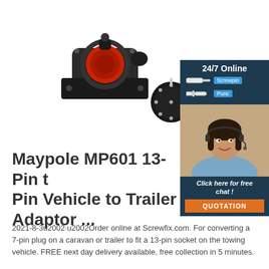[Figure (photo): Product photo of Maypole MP601 13-pin trailer adapter set showing socket housing with red dust cap and separate pin connector head, on white background]
[Figure (infographic): Sidebar advertisement showing 24/7 Online support with screwfix product icons, a female customer service agent wearing headset, and a 'Click here for free chat! QUOTATION' call-to-action button in dark navy and orange]
Maypole MP601 13-Pin to 7-Pin Vehicle to Trailer Adaptor ...
2021-8-3u2002·u2002Order online at Screwfix.com. For converting a 7-pin plug on a caravan or trailer to fit a 13-pin socket on the towing vehicle. FREE next day delivery available, free collection in 5 minutes.